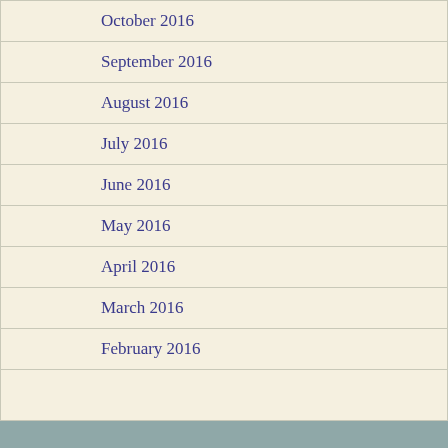October 2016
September 2016
August 2016
July 2016
June 2016
May 2016
April 2016
March 2016
February 2016
Meta